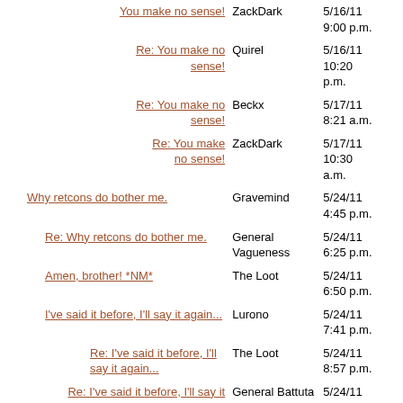| Title | User | Date |
| --- | --- | --- |
| You make no sense! | ZackDark | 5/16/11 9:00 p.m. |
| Re: You make no sense! | Quirel | 5/16/11 10:20 p.m. |
| Re: You make no sense! | Beckx | 5/17/11 8:21 a.m. |
| Re: You make no sense! | ZackDark | 5/17/11 10:30 a.m. |
| Why retcons do bother me. | Gravemind | 5/24/11 4:45 p.m. |
| Re: Why retcons do bother me. | General Vagueness | 5/24/11 6:25 p.m. |
| Amen, brother! *NM* | The Loot | 5/24/11 6:50 p.m. |
| I've said it before, I'll say it again... | Lurono | 5/24/11 7:41 p.m. |
| Re: I've said it before, I'll say it again... | The Loot | 5/24/11 8:57 p.m. |
| Re: I've said it before, I'll say it again... | General Battuta | 5/24/11 8:58 p.m. |
| Re: I've said it before, I'll say it again... | General Battuta | 5/24/11 8:57 p.m. |
| Re: I've said it before, I'll say it again... | Lurono | 5/24/11 9:22 p.m. |